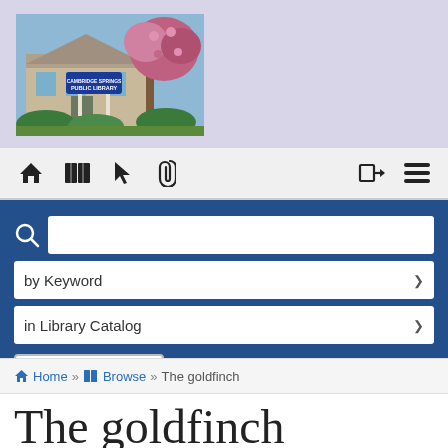[Figure (photo): Cambridge Springs Public Library sign in front of building with pink flowering tree]
[Figure (screenshot): Navigation bar with home, browse, cursor, paperclip icons on left and login, menu icons on right]
[Figure (screenshot): Library catalog search interface with search box, by Keyword dropdown, in Library Catalog dropdown, and Search button on dark blue background]
Home » Browse » The goldfinch
The goldfinch